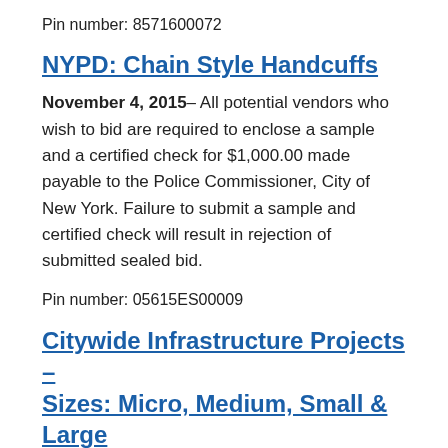Pin number: 8571600072
NYPD: Chain Style Handcuffs
November 4, 2015– All potential vendors who wish to bid are required to enclose a sample and a certified check for $1,000.00 made payable to the Police Commissioner, City of New York. Failure to submit a sample and certified check will result in rejection of submitted sealed bid.
Pin number: 05615ES00009
Citywide Infrastructure Projects – Sizes: Micro, Medium, Small & Large